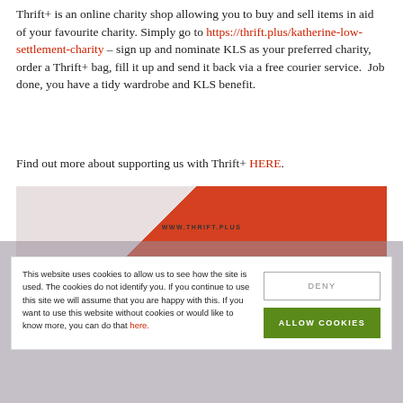Thrift+ is an online charity shop allowing you to buy and sell items in aid of your favourite charity. Simply go to https://thrift.plus/katherine-low-settlement-charity – sign up and nominate KLS as your preferred charity, order a Thrift+ bag, fill it up and send it back via a free courier service.  Job done, you have a tidy wardrobe and KLS benefit.
Find out more about supporting us with Thrift+ HERE.
[Figure (photo): Photo of a Thrift+ bag showing www.thrift.plus website URL, white and orange design]
This website uses cookies to allow us to see how the site is used. The cookies do not identify you. If you continue to use this site we will assume that you are happy with this. If you want to use this website without cookies or would like to know more, you can do that here.